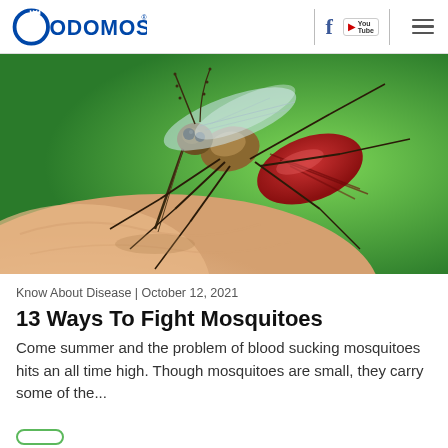[Figure (logo): Odomos brand logo — blue circular C shape with ODOMOS text in blue, registered trademark symbol]
[Figure (photo): Close-up macro photograph of a mosquito biting human skin, drawing blood (red abdomen), green blurred background]
Know About Disease | October 12, 2021
13 Ways To Fight Mosquitoes
Come summer and the problem of blood sucking mosquitoes hits an all time high. Though mosquitoes are small, they carry some of the...